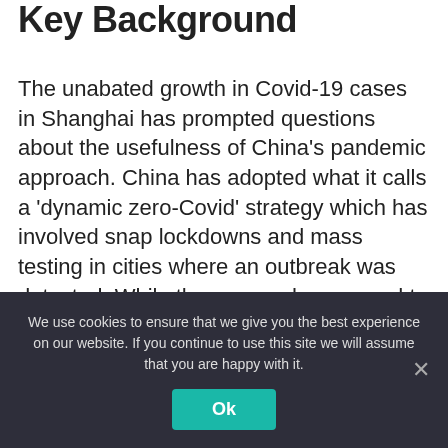Key Background
The unabated growth in Covid-19 cases in Shanghai has prompted questions about the usefulness of China's pandemic approach. China has adopted what it calls a 'dynamic zero-Covid' strategy which has involved snap lockdowns and mass testing in cities where an outbreak was detected. While the approach appeared to be successful last year, the arrival of the fast spreading omicron subvariant known as BA.2 appears to have rendered it ineffective. The country now faces the threat of an even larger surge
We use cookies to ensure that we give you the best experience on our website. If you continue to use this site we will assume that you are happy with it.
Ok